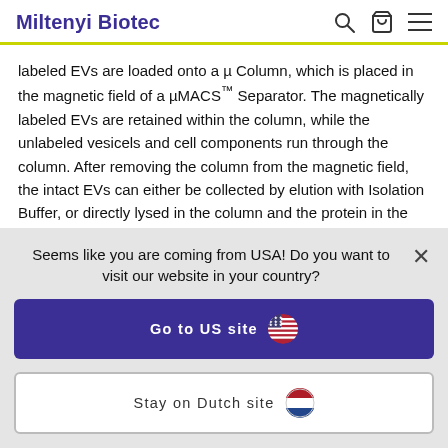Miltenyi Biotec
labeled EVs are loaded onto a µ Column, which is placed in the magnetic field of a µMACS™ Separator. The magnetically labeled EVs are retained within the column, while the unlabeled vesicels and cell components run through the column. After removing the column from the magnetic field, the intact EVs can either be collected by elution with Isolation Buffer, or directly lysed in the column and the protein in the lysates can be analyzed, e.g., by Western blotting.
Seems like you are coming from USA! Do you want to visit our website in your country?
Go to US site
Stay on Dutch site